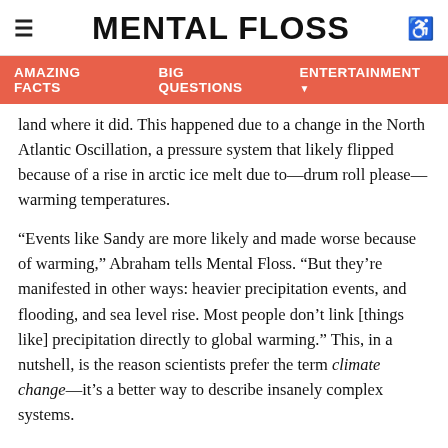MENTAL FLOSS
AMAZING FACTS   BIG QUESTIONS   ENTERTAINMENT
land where it did. This happened due to a change in the North Atlantic Oscillation, a pressure system that likely flipped because of a rise in arctic ice melt due to—drum roll please—warming temperatures.
“Events like Sandy are more likely and made worse because of warming,” Abraham tells Mental Floss. “But they’re manifested in other ways: heavier precipitation events, and flooding, and sea level rise. Most people don’t link [things like] precipitation directly to global warming.” This, in a nutshell, is the reason scientists prefer the term climate change—it’s a better way to describe insanely complex systems.